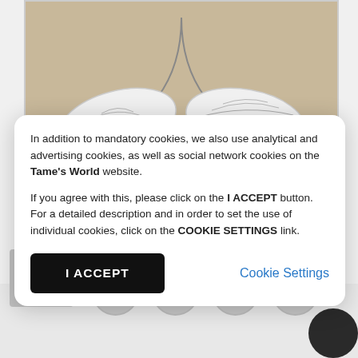[Figure (photo): A crafting photo showing white paper leaf cutouts on a beige/tan cardstock background, with a green checkerboard pattern in the bottom-left corner. Watermark 'www.scrapek.pl' in red-brown italic text at bottom right.]
In addition to mandatory cookies, we also use analytical and advertising cookies, as well as social network cookies on the Tame's World website.

If you agree with this, please click on the I ACCEPT button. For a detailed description and in order to set the use of individual cookies, click on the COOKIE SETTINGS link.